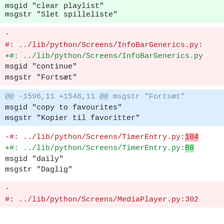msgid "clear playlist"
msgstr "Slet spilleliste"
-
#: ../lib/python/Screens/InfoBarGenerics.py:
+#: ../lib/python/Screens/InfoBarGenerics.py
 msgid "continue"
 msgstr "Fortsæt"
@@ -1596,11 +1548,11 @@ msgstr "Fortsæt"
 msgid "copy to favourites"
 msgstr "Kopier til favoritter"
-#: ../lib/python/Screens/TimerEntry.py:104
+#: ../lib/python/Screens/TimerEntry.py:88
 msgid "daily"
 msgstr "Daglig"
-
#: ../lib/python/Screens/MediaPlayer.py:302